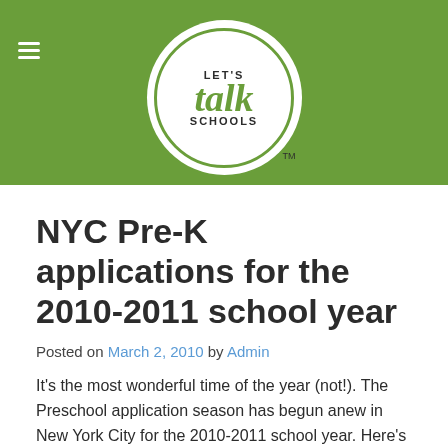[Figure (logo): Let's Talk Schools logo — circular badge with white background and green border, text 'LET'S' above large italic green 'talk' and 'SCHOOLS' below, with TM mark, on a green header bar with hamburger menu icon at left]
NYC Pre-K applications for the 2010-2011 school year
Posted on March 2, 2010 by Admin
It's the most wonderful time of the year (not!).  The Preschool application season has begun anew in New York City for the 2010-2011 school year.  Here's